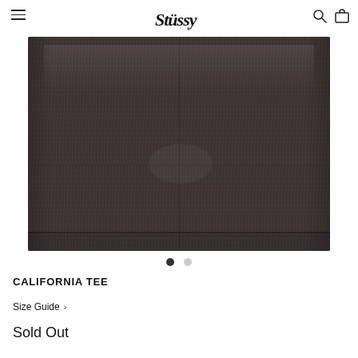Stussy – navigation header with hamburger menu, Stussy logo, search icon, cart icon
[Figure (photo): Close-up photo of the bottom portion of a dark charcoal/brown Stussy California Tee, showing fabric texture, fold crease, and hem.]
CALIFORNIA TEE
Size Guide >
Sold Out